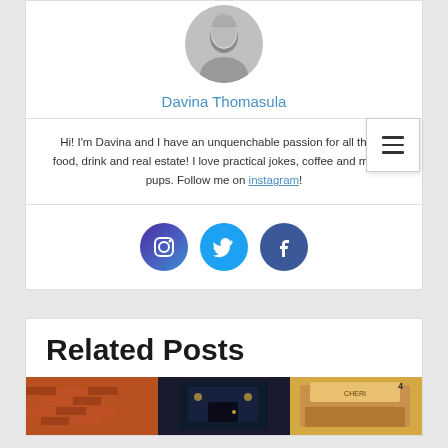[Figure (photo): Circular avatar photo of Davina Thomasula, a woman with blonde hair, in black and white]
Davina Thomasula
Hi! I'm Davina and I have an unquenchable passion for all things food, drink and real estate! I love practical jokes, coffee and my two pups. Follow me on instagram!
[Figure (illustration): Social media icons: Instagram, Twitter, Facebook - circular colored buttons]
Related Posts
[Figure (photo): Three related post thumbnail images side by side showing brick buildings and storefronts]